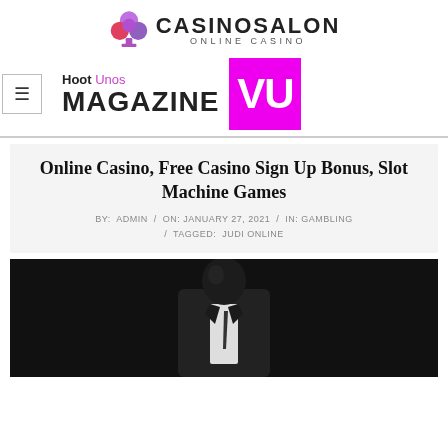[Figure (logo): CasinoSalon Online Casino logo with purple/pink club symbol and bold text]
[Figure (logo): Hoot Unos Magazine VU logo with magenta VU box]
Online Casino, Free Casino Sign Up Bonus, Slot Machine Games
BY: ADMIN / ON: JANUARY 27, 2021 / IN: GAMBLING / TAGGED: JUDI ONLINE
[Figure (photo): Dark photo of a person in a suit, partially visible from chest up]